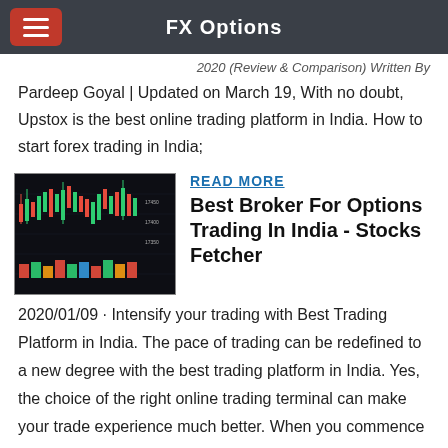FX Options
2020 (Review & Comparison) Written By Pardeep Goyal | Updated on March 19, With no doubt, Upstox is the best online trading platform in India. How to start forex trading in India;
[Figure (screenshot): Screenshot of a stock trading platform showing candlestick charts with colorful price data on a dark background]
READ MORE
Best Broker For Options Trading In India - Stocks Fetcher
2020/01/09 · Intensify your trading with Best Trading Platform in India. The pace of trading can be redefined to a new degree with the best trading platform in India. Yes, the choice of the right online trading terminal can make your trade experience much better. When you commence investing in stock market, even the trade execution time can make a big